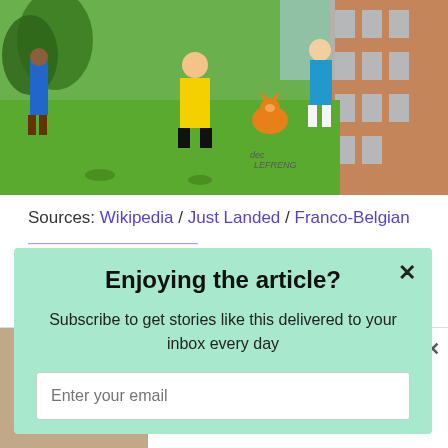[Figure (photo): Colorful cartoon mural painted on a building wall, showing animated characters including a person in a yellow jacket and orange cat on a green lawn background, with apartment buildings visible on the right side.]
Sources: Wikipedia / Just Landed / Franco-Belgian
Enjoying the article?
Subscribe to get stories like this delivered to your inbox every day
Enter your email
Homeowners Are Trading In Their Doorbell Cams For This
Camerca | Sponsored